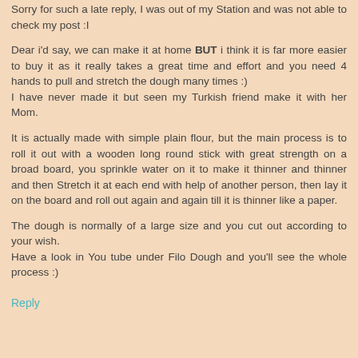Sorry for such a late reply, I was out of my Station and was not able to check my post :I
Dear i'd say, we can make it at home BUT i think it is far more easier to buy it as it really takes a great time and effort and you need 4 hands to pull and stretch the dough many times :)
I have never made it but seen my Turkish friend make it with her Mom.
It is actually made with simple plain flour, but the main process is to roll it out with a wooden long round stick with great strength on a broad board, you sprinkle water on it to make it thinner and thinner and then Stretch it at each end with help of another person, then lay it on the board and roll out again and again till it is thinner like a paper.
The dough is normally of a large size and you cut out according to your wish.
Have a look in You tube under Filo Dough and you'll see the whole process :)
Reply